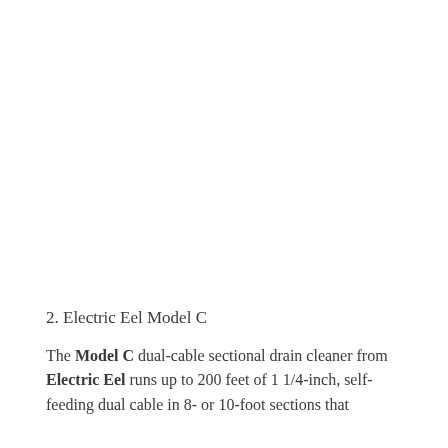2. Electric Eel Model C
The Model C dual-cable sectional drain cleaner from Electric Eel runs up to 200 feet of 1 1/4-inch, self-feeding dual cable in 8- or 10-foot sections that